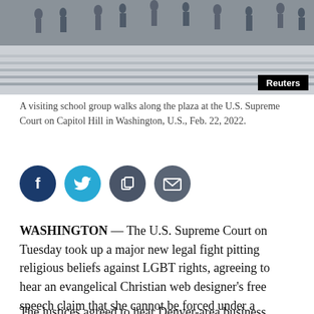[Figure (photo): People (silhouettes) walking along the plaza at the U.S. Supreme Court building, with steps visible. Reuters watermark in bottom right.]
A visiting school group walks along the plaza at the U.S. Supreme Court on Capitol Hill in Washington, U.S., Feb. 22, 2022.
[Figure (infographic): Social media sharing icons: Facebook (dark blue), Twitter (light blue), Copy (dark gray), Email (dark gray)]
WASHINGTON — The U.S. Supreme Court on Tuesday took up a major new legal fight pitting religious beliefs against LGBT rights, agreeing to hear an evangelical Christian web designer's free speech claim that she cannot be forced under a Colorado anti-discrimination law to produce websites for same-sex marriages.
The justices agreed to hear Denver-area business